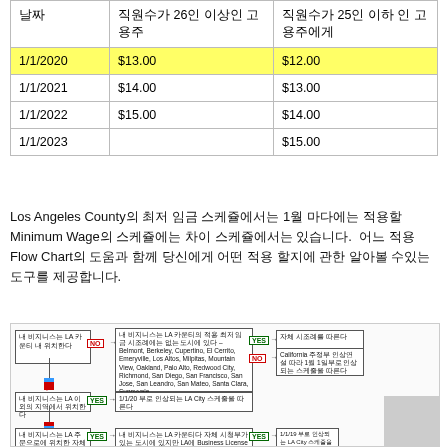| 날짜 | 직원수가 26인 이상인 고용주 | 직원수가 25인 이하 인 고용주에게 |
| --- | --- | --- |
| 1/1/2020 | $13.00 | $12.00 |
| 1/1/2021 | $14.00 | $13.00 |
| 1/1/2022 | $15.00 | $14.00 |
| 1/1/2023 |  | $15.00 |
Los Angeles County의 최저 임금 스케쥴에서는 1월 마다에는 적용할 Minimum Wage의 스케쥴에는 차이 스케쥴에서는 있습니다. 어느 적용 Flow Chart의 도움과 함께 당신에게 어떤 적용 할지에 관한 알아볼 수있는 도구를 제공합니다.
[Figure (flowchart): A flowchart in Korean showing how to determine which minimum wage schedule applies to a business in Los Angeles County. Boxes with YES/NO decision paths lead to different outcomes regarding LA City and LA County minimum wage schedules.]